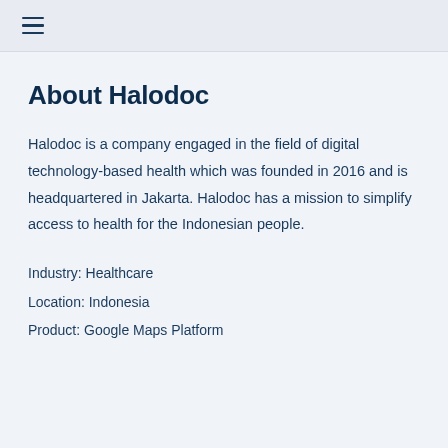≡
About Halodoc
Halodoc is a company engaged in the field of digital technology-based health which was founded in 2016 and is headquartered in Jakarta. Halodoc has a mission to simplify access to health for the Indonesian people.
Industry: Healthcare
Location: Indonesia
Product: Google Maps Platform